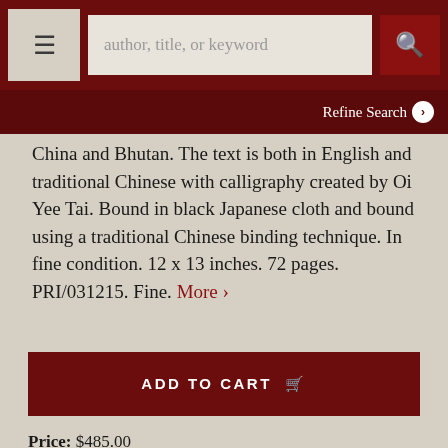author, title, or keyword | Refine Search
China and Bhutan. The text is both in English and traditional Chinese with calligraphy created by Oi Yee Tai. Bound in black Japanese cloth and bound using a traditional Chinese binding technique. In fine condition. 12 x 13 inches. 72 pages. PRI/031215. Fine. More ›
ADD TO CART
Price: $485.00
Item Details
Ask a Question
Item #28019